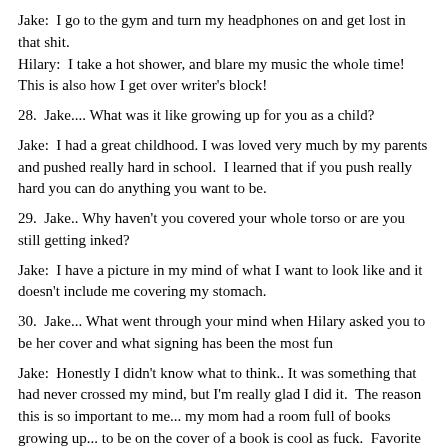Jake:  I go to the gym and turn my headphones on and get lost in that shit.
Hilary:  I take a hot shower, and blare my music the whole time!  This is also how I get over writer's block!
28.  Jake.... What was it like growing up for you as a child?
Jake:  I had a great childhood. I was loved very much by my parents and pushed really hard in school.  I learned that if you push really hard you can do anything you want to be.
29.  Jake.. Why haven't you covered your whole torso or are you still getting inked?
Jake:  I have a picture in my mind of what I want to look like and it doesn't include me covering my stomach.
30.  Jake... What went through your mind when Hilary asked you to be her cover and what signing has been the most fun
Jake:  Honestly I didn't know what to think.. It was something that had never crossed my mind, but I'm really glad I did it.  The reason this is so important to me... my mom had a room full of books growing up... to be on the cover of a book is cool as fuck.  Favorite signing was Cleveland!